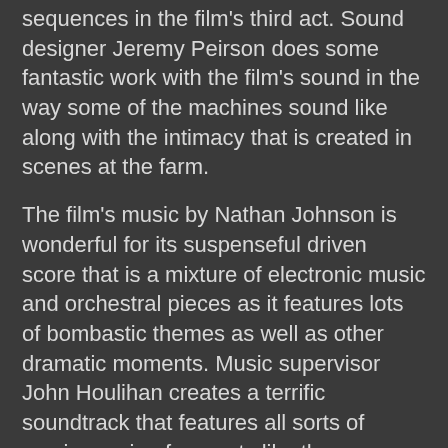sequences in the film's third act. Sound designer Jeremy Peirson does some fantastic work with the film's sound in the way some of the machines sound like along with the intimacy that is created in scenes at the farm.
The film's music by Nathan Johnson is wonderful for its suspenseful driven score that is a mixture of electronic music and orchestral pieces as it features lots of bombastic themes as well as other dramatic moments. Music supervisor John Houlihan creates a terrific soundtrack that features all sorts of music ranging from acts like the Mashnotes, Kid Koala, Richard and Linda Thompson, Son Lux, and Warren Zevon.
The casting by Lindsay Graham and Mary Vernieu is phenomenal for the ensemble that is created as it features some notable small performances from Tracie Thoms as a waitress young Joe sees every day at a diner, Nick Gomez as a fellow looper, Frank Brennan as the old Seth, Xu Qing as the old Joe's wife, Garret Dillahunt as the hired gunner Jesse, and Piper Perabo as the showgirl Suzie who young Joe spends time with early in the film. Paul Dano is pretty good as the looper Seth who suddenly faces himself as he